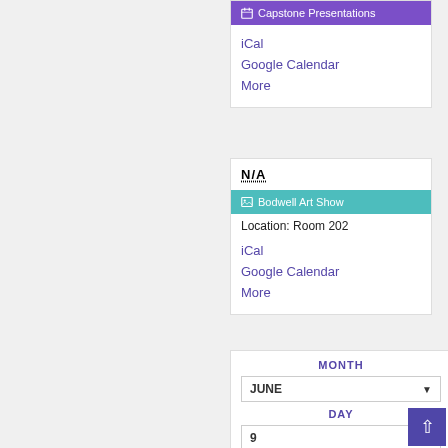Capstone Presentations
iCal
Google Calendar
More
N/A
Bodwell Art Show
Location: Room 202
iCal
Google Calendar
More
MONTH
JUNE
DAY
9